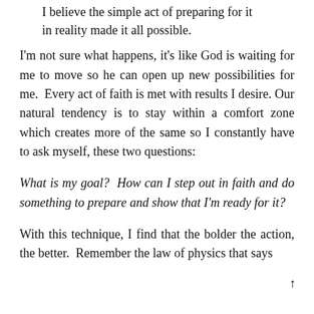I believe the simple act of preparing for it in reality made it all possible.
I'm not sure what happens, it's like God is waiting for me to move so he can open up new possibilities for me. Every act of faith is met with results I desire. Our natural tendency is to stay within a comfort zone which creates more of the same so I constantly have to ask myself, these two questions:
What is my goal? How can I step out in faith and do something to prepare and show that I'm ready for it?
With this technique, I find that the bolder the action, the better. Remember the law of physics that says